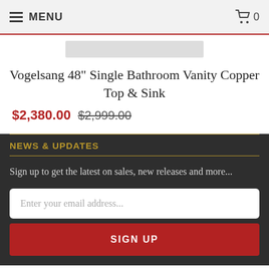MENU  🛒 0
Vogelsang 48" Single Bathroom Vanity Copper Top & Sink
$2,380.00  $2,999.00
NEWS & UPDATES
Sign up to get the latest on sales, new releases and more...
Enter your email address...
SIGN UP